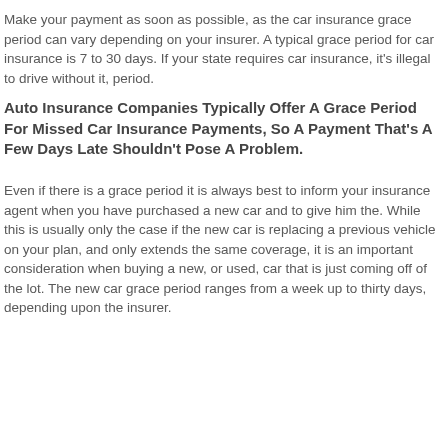Make your payment as soon as possible, as the car insurance grace period can vary depending on your insurer. A typical grace period for car insurance is 7 to 30 days. If your state requires car insurance, it's illegal to drive without it, period.
Auto Insurance Companies Typically Offer A Grace Period For Missed Car Insurance Payments, So A Payment That's A Few Days Late Shouldn't Pose A Problem.
Even if there is a grace period it is always best to inform your insurance agent when you have purchased a new car and to give him the. While this is usually only the case if the new car is replacing a previous vehicle on your plan, and only extends the same coverage, it is an important consideration when buying a new, or used, car that is just coming off of the lot. The new car grace period ranges from a week up to thirty days, depending upon the insurer.